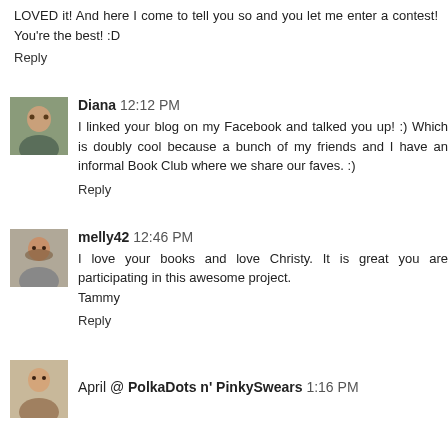LOVED it! And here I come to tell you so and you let me enter a contest! You're the best! :D
Reply
Diana  12:12 PM
I linked your blog on my Facebook and talked you up! :) Which is doubly cool because a bunch of my friends and I have an informal Book Club where we share our faves. :)
Reply
melly42  12:46 PM
I love your books and love Christy. It is great you are participating in this awesome project.
Tammy
Reply
April @ PolkaDots n' PinkySwears  1:16 PM